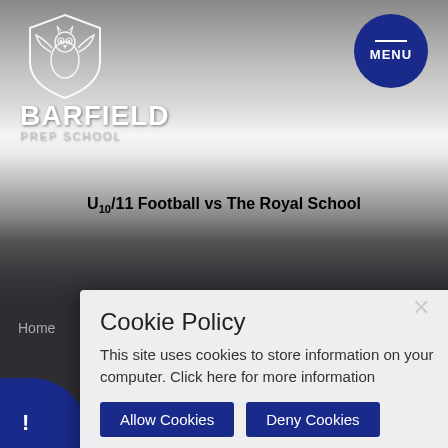[Figure (logo): Barfield Prep School logo with owl mascot and shield]
BARFIELD PREP SCHOOL
[Figure (other): MENU button in dark blue circle]
U10/11 Football vs The Royal School
Home
Cookie Policy
This site uses cookies to store information on your computer. Click here for more information
Allow Cookies
Deny Cookies